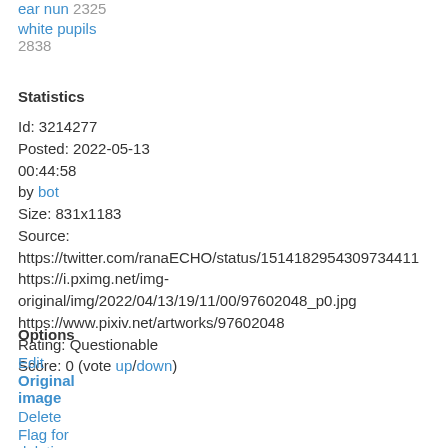ear nun 2325
white pupils 2838
Statistics
Id: 3214277
Posted: 2022-05-13 00:44:58
by bot
Size: 831x1183
Source: https://twitter.com/ranaECHO/status/1514182954309734411 https://i.pximg.net/img-original/img/2022/04/13/19/11/00/97602048_p0.jpg https://www.pixiv.net/artworks/97602048
Rating: Questionable
Score: 0 (vote up/down)
Options
Edit
Original image
Delete
Flag for deletion
Add Note